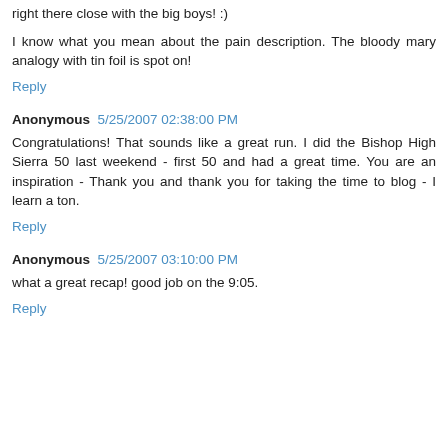right there close with the big boys! :)
I know what you mean about the pain description. The bloody mary analogy with tin foil is spot on!
Reply
Anonymous 5/25/2007 02:38:00 PM
Congratulations! That sounds like a great run. I did the Bishop High Sierra 50 last weekend - first 50 and had a great time. You are an inspiration - Thank you and thank you for taking the time to blog - I learn a ton.
Reply
Anonymous 5/25/2007 03:10:00 PM
what a great recap! good job on the 9:05.
Reply